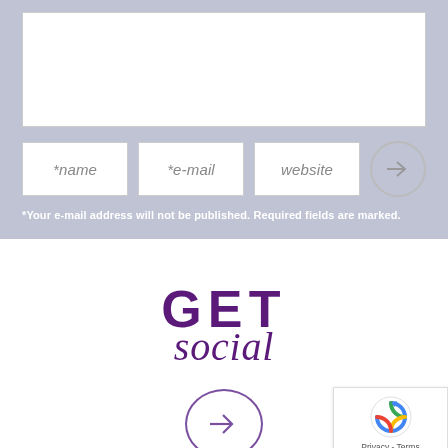[Figure (screenshot): Comment form section with textarea, name/email/website fields, submit button on lavender/slate-blue background]
*Your e-mail address will not be published. Required fields are marked.
[Figure (infographic): GET social logo in purple with arrow circle button below, reCAPTCHA badge in bottom right]